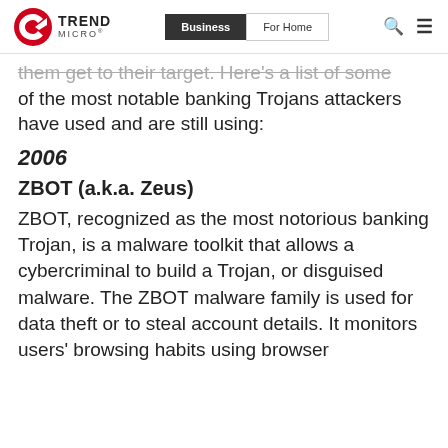Trend Micro | Business | For Home
them get to their target. Here's a list of some of the most notable banking Trojans attackers have used and are still using:
2006
ZBOT (a.k.a. Zeus)
ZBOT, recognized as the most notorious banking Trojan, is a malware toolkit that allows a cybercriminal to build a Trojan, or disguised malware. The ZBOT malware family is used for data theft or to steal account details. It monitors users' browsing habits using browser